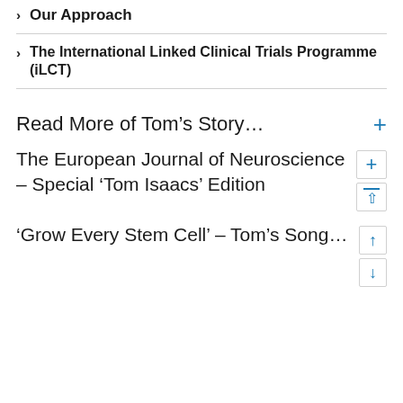Our Approach
The International Linked Clinical Trials Programme (iLCT)
Read More of Tom's Story…
The European Journal of Neuroscience – Special 'Tom Isaacs' Edition
'Grow Every Stem Cell' – Tom's Song…